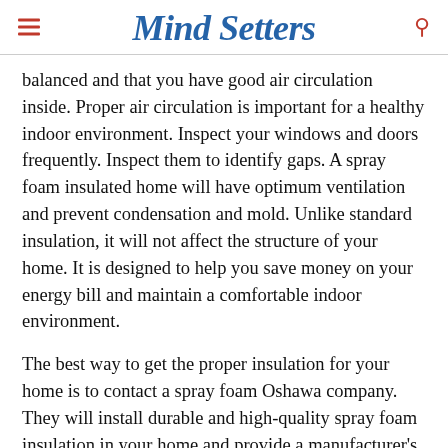Mind Setters
balanced and that you have good air circulation inside. Proper air circulation is important for a healthy indoor environment. Inspect your windows and doors frequently. Inspect them to identify gaps. A spray foam insulated home will have optimum ventilation and prevent condensation and mold. Unlike standard insulation, it will not affect the structure of your home. It is designed to help you save money on your energy bill and maintain a comfortable indoor environment.
The best way to get the proper insulation for your home is to contact a spray foam Oshawa company. They will install durable and high-quality spray foam insulation in your home and provide a manufacturer's warranty. This type of product has many benefits, including a reduced energy bill. It is also easier to clean than other